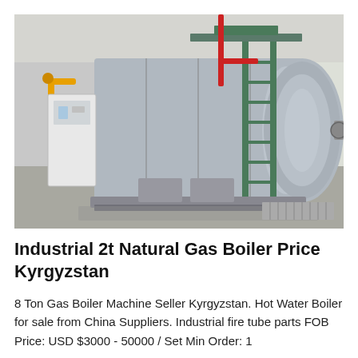[Figure (photo): Industrial natural gas boiler inside a factory building. A large horizontal cylindrical boiler tank (grey/silver) is mounted on a frame with a green metal staircase/ladder running up the side. Red and yellow pipes are visible on the left. A white control cabinet stands to the left of the boiler. The facility has grey concrete floors and light-coloured walls.]
Industrial 2t Natural Gas Boiler Price Kyrgyzstan
8 Ton Gas Boiler Machine Seller Kyrgyzstan. Hot Water Boiler for sale from China Suppliers. Industrial fire tube parts FOB Price: USD $3000 - 50000 / Set Min Order: 1